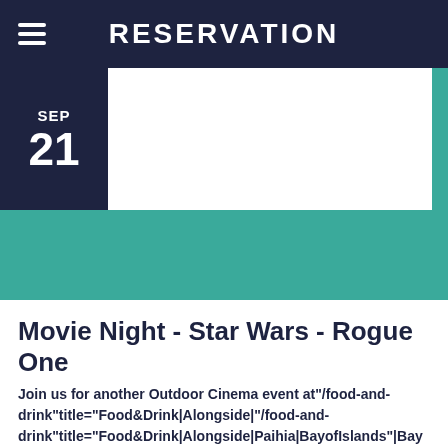RESERVATION
SEP
21
Movie Night - Star Wars - Rogue One
Join us for another Outdoor Cinema event at"/food-and-drink"title="Food&Drink|Alongside|"/food-and-drink"title="Food&Drink|Alongside|Paihia|BayofIslands"|Bay with Star Wars - Rogue One. Movie Tickets just £5 or